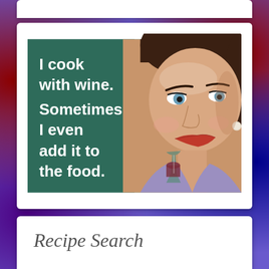[Figure (illustration): Retro-style humorous image with dark green background on the left side showing bold white text: 'I cook with wine. Sometimes I even add it to the food.' On the right side is a vintage-style portrait of a woman with dark hair, blue eyes, red lipstick, wearing a purple top and pearl earring, holding a glass of red wine.]
Recipe Search